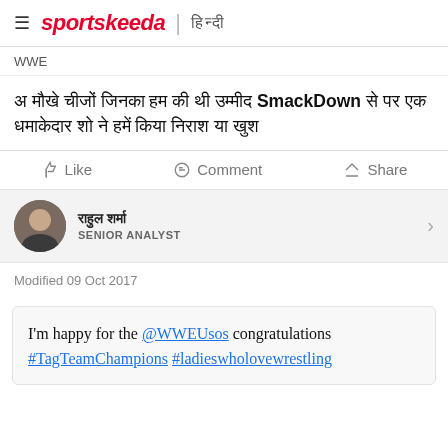sportskeeda | हिन्दी
WWE
5 चीजें जिनका हमने की थी उम्मीद SmackDown से पर एक धमाकेदार शो ने हमें किया निराश या खुश
Like  Comment  Share
राहुल शर्मा
SENIOR ANALYST
Modified 09 Oct 2017
I'm happy for the @WWEUsos congratulations #TagTeamChampions #ladieswholovewrestling